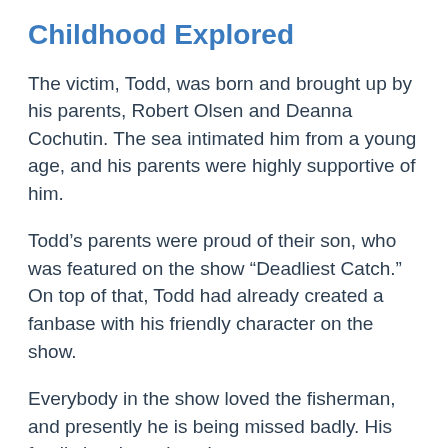Childhood Explored
The victim, Todd, was born and brought up by his parents, Robert Olsen and Deanna Cochutin. The sea intimated him from a young age, and his parents were highly supportive of him.
Todd’s parents were proud of their son, who was featured on the show “Deadliest Catch.” On top of that, Todd had already created a fanbase with his friendly character on the show.
Everybody in the show loved the fisherman, and presently he is being missed badly. His family has been keeping